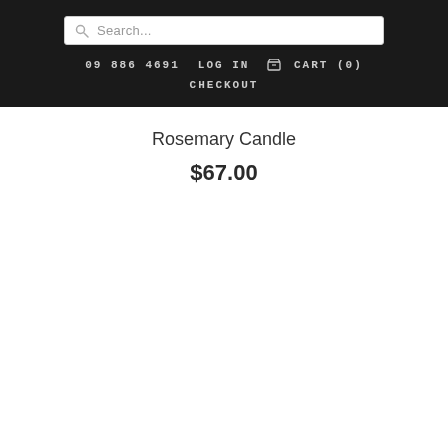Search...  09 886 4691  LOG IN  CART (0)  CHECKOUT
Rosemary Candle
$67.00